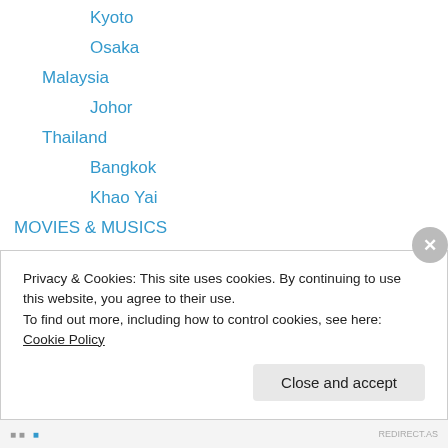Kyoto
Osaka
Malaysia
Johor
Thailand
Bangkok
Khao Yai
MOVIES & MUSICS
Artist
Music Videos
NAILS AFFAIR
.A-England
Bridal Veil
Privacy & Cookies: This site uses cookies. By continuing to use this website, you agree to their use.
To find out more, including how to control cookies, see here: Cookie Policy